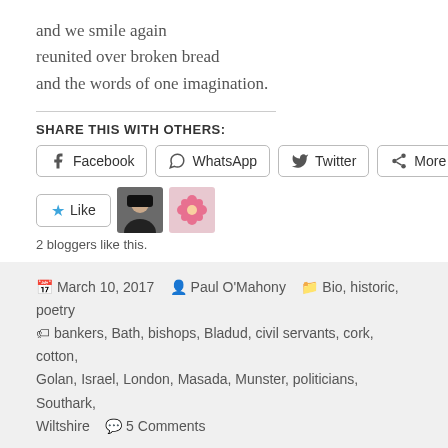and we smile again
reunited over broken bread
and the words of one imagination.
SHARE THIS WITH OTHERS:
[Figure (infographic): Social share buttons: Facebook, WhatsApp, Twitter, More]
[Figure (infographic): Like button with star icon, and two blogger avatars (person portrait, pink flower). Text: 2 bloggers like this.]
March 10, 2017  Paul O'Mahony  Bio, historic, poetry  bankers, Bath, bishops, Bladud, civil servants, cork, cotton, Golan, Israel, London, Masada, Munster, politicians, Southark, Wiltshire  5 Comments
Website Built with WordPress.com.